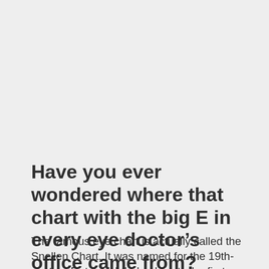Have you ever wondered where that chart with the big E in every eye doctor's office came from?
The famous eye chart is actually called the Snellen Chart. It was named for the 19th-century Dutch ophthalmologist who first developed it.